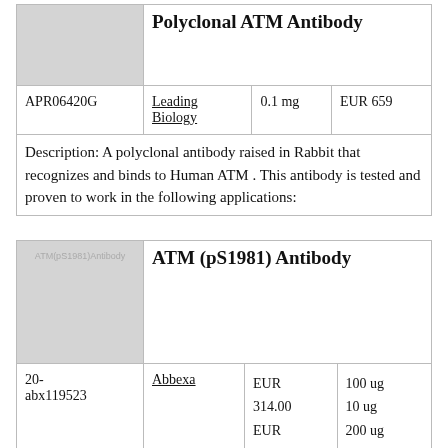| [image] | Polyclonal ATM Antibody |
| --- | --- |
| APR06420G | Leading Biology | 0.1 mg | EUR 659 |
| [colspan] | Description: A polyclonal antibody raised in Rabbit that recognizes and binds to Human ATM . This antibody is tested and proven to work in the following applications: |
| [image: ATM(pS1981)Antibody] | ATM (pS1981) Antibody |
| --- | --- |
| 20-abx119523 | Abbexa | EUR 314.00
EUR 98.00 | 100 ug
10 ug
200 ug
300 µg |